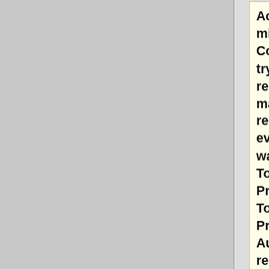Accessing the system mixer in the Windows Control Panel and trying to select your required input there may often allow you to record into Audacity, even if the input you want isn't in Device Toolbar or Devices Preferences "(Mixer Toolbar or Audio I/O Preferences in legacy Audacity)", or isn't recording properly.
{{Hint|1=
<p>'''<center>HELP WITH